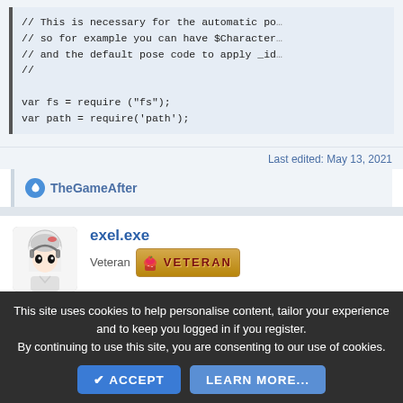// This is necessary for the automatic po
// so for example you can have $Character
// and the default pose code to apply _id
//

var fs = require ("fs");
var path = require('path');
Last edited: May 13, 2021
TheGameAfter
[Figure (photo): Forum user avatar for exel.exe - anime style character with headphones]
exel.exe
Veteran
[Figure (illustration): Veteran badge with cupcake icon and VETERAN text in dark red on golden background]
Apr 10, 2020
#7
This site uses cookies to help personalise content, tailor your experience and to keep you logged in if you register.
By continuing to use this site, you are consenting to our use of cookies.